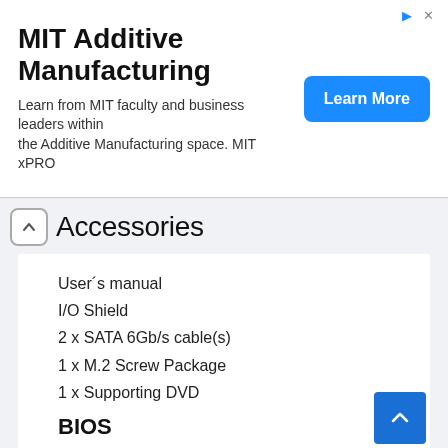[Figure (other): MIT Additive Manufacturing advertisement banner with Learn More button]
Accessories
User´s manual
I/O Shield
2 x SATA 6Gb/s cable(s)
1 x M.2 Screw Package
1 x Supporting DVD
BIOS
256 Mb Flash ROM, UEFI AMI BIOS
Operating System
Windows® 10 64-bit
Windows® 7 64-bit *2